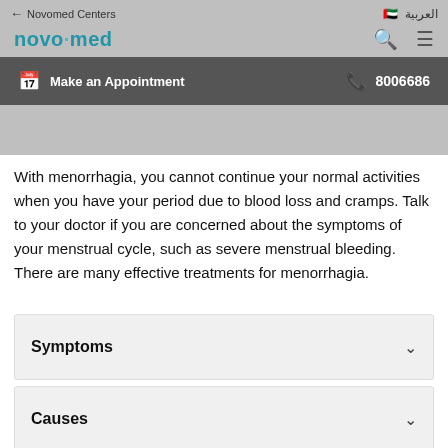Although menstrual bleeding is a common concern, most women do not experience blood loss enough to be defined as menorrhagia.
[Figure (screenshot): Novomed Centers navigation bar with logo, search icon, hamburger menu, UAE flag, Make an Appointment button and phone number 8006686]
With menorrhagia, you cannot continue your normal activities when you have your period due to blood loss and cramps. Talk to your doctor if you are concerned about the symptoms of your menstrual cycle, such as severe menstrual bleeding. There are many effective treatments for menorrhagia.
Symptoms
Causes
Diagnosis